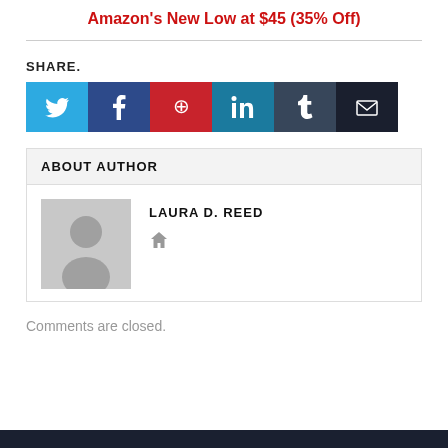Amazon's New Low at $45 (35% Off)
SHARE.
[Figure (infographic): Social share buttons: Twitter (light blue), Facebook (dark blue), Pinterest (red), LinkedIn (teal), Tumblr (slate blue), Email (dark navy)]
ABOUT AUTHOR
[Figure (photo): Generic grey avatar silhouette placeholder image for author Laura D. Reed]
LAURA D. REED
Comments are closed.